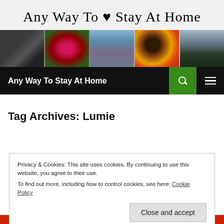[Figure (photo): Blog header banner with title 'Any Way To ♥ Stay At Home' overlaid on a collage of photos: a woman with glasses, red roses, a baby in a grey jacket, a sunflower, and an outdoor scene.]
Any Way To Stay At Home
Tag Archives: Lumie
Privacy & Cookies: This site uses cookies. By continuing to use this website, you agree to their use.
To find out more, including how to control cookies, see here: Cookie Policy
[Close and accept]